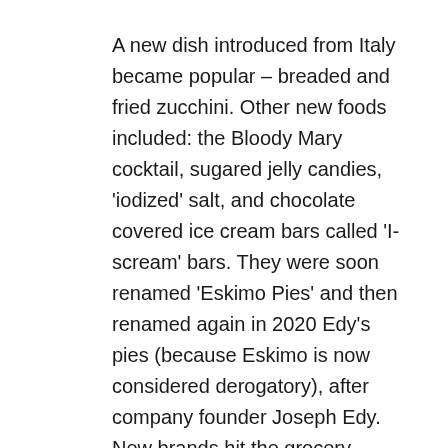A new dish introduced from Italy became popular – breaded and fried zucchini. Other new foods included: the Bloody Mary cocktail, sugared jelly candies, 'iodized' salt, and chocolate covered ice cream bars called 'I-scream' bars. They were soon renamed 'Eskimo Pies' and then renamed again in 2020 Edy's pies (because Eskimo is now considered derogatory), after company founder Joseph Edy. New brands hit the grocery shelves: Wonder bread with its distinctive red, yellow and blue balloon-print packaging, Wheaties breakfast cereal, French's mustard, and fictional company mascot and